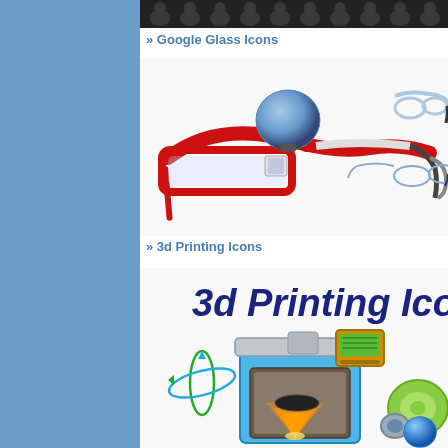[Figure (illustration): Blue sidebar background panel on the left side of the page]
[Figure (illustration): Dark banner/header strip at the top of the content area showing repeated arch silhouettes]
» Google Glass Icons
[Figure (illustration): Google Glass icon set showing red Google Glass frames, a blue sphere gadget, white/transparent glasses frames in various angles]
» 3d Printing Icons
[Figure (illustration): 3d Printing Icons set showing bold italic dark blue title '3d Printing Ico...' with a 3D printer illustration, blue atom-like rotation symbol, yellow glowing light beneath printer, and green rounded object to the right]